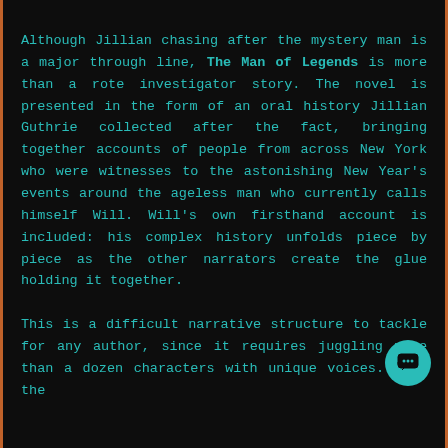Although Jillian chasing after the mystery man is a major through line, The Man of Legends is more than a rote investigator story. The novel is presented in the form of an oral history Jillian Guthrie collected after the fact, bringing together accounts of people from across New York who were witnesses to the astonishing New Year's events around the ageless man who currently calls himself Will. Will's own firsthand account is included: his complex history unfolds piece by piece as the other narrators create the glue holding it together.
This is a difficult narrative structure to tackle for any author, since it requires juggling more than a dozen characters with unique voices. Over the